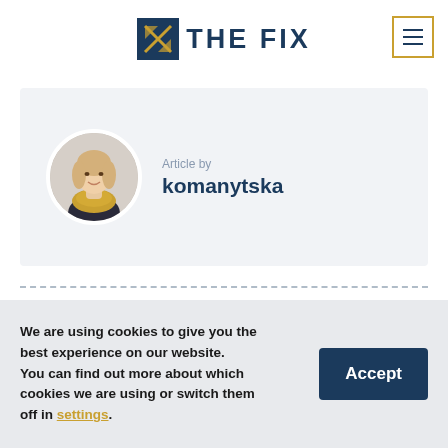[Figure (logo): The Fix logo with geometric X icon in navy and gold, and bold text 'THE FIX' in navy]
[Figure (illustration): Menu hamburger icon button with gold border]
[Figure (photo): Circular avatar photo of a young woman with blonde hair wearing a yellow/gold scarf]
Article by
komanytska
We are using cookies to give you the best experience on our website.
You can find out more about which cookies we are using or switch them off in settings.